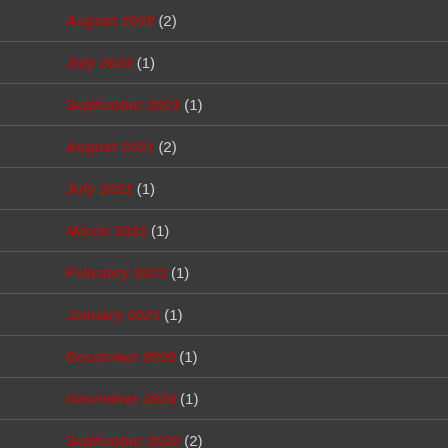August 2022 (2)
July 2022 (1)
September 2021 (1)
August 2021 (2)
July 2021 (1)
March 2021 (1)
February 2021 (1)
January 2021 (1)
December 2020 (1)
November 2020 (1)
September 2020 (2)
August 2020 (1)
June 2020 (4)